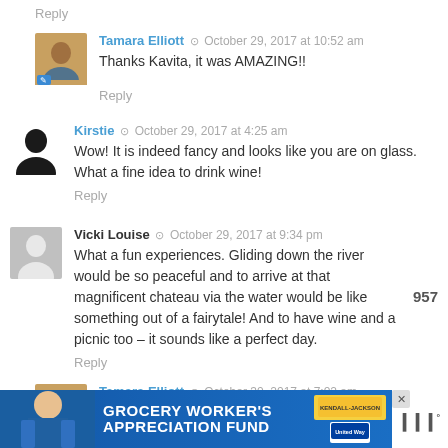Reply
Tamara Elliott  ⊙  October 29, 2017 at 10:52 am
Thanks Kavita, it was AMAZING!!
Reply
Kirstie  ⊙  October 29, 2017 at 4:25 am
Wow! It is indeed fancy and looks like you are on glass. What a fine idea to drink wine!
Reply
Vicki Louise  ⊙  October 29, 2017 at 9:34 pm
What a fun experiences. Gliding down the river would be so peaceful and to arrive at that magnificent chateau via the water would be like something out of a fairytale! And to have wine and a picnic too – it sounds like a perfect day.
Reply
Tamara Elliott  ⊙  October 30, 2017 at 7:02 am
It was amazing!
[Figure (infographic): Grocery Worker's Appreciation Fund ad banner with Kendall Jackson and United Way logos]
[Figure (other): Heart/like button with count 957 and share button]